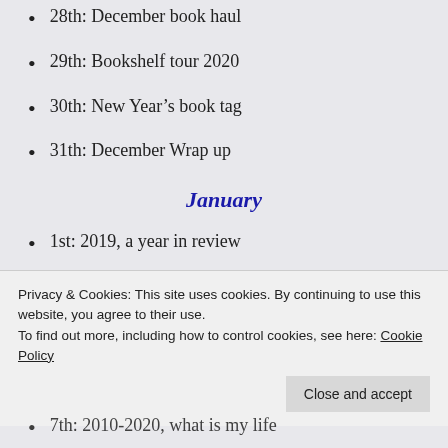28th: December book haul
29th: Bookshelf tour 2020
30th: New Year’s book tag
31th: December Wrap up
January
1st: 2019, a year in review
2nd: Reading resolutions 2020
3rd: Bottom books of 2019
Privacy & Cookies: This site uses cookies. By continuing to use this website, you agree to their use.
To find out more, including how to control cookies, see here: Cookie Policy
7th: 2010-2020, what is my life